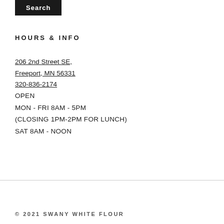[Figure (other): Search button — black rectangle with white bold text 'Search']
HOURS & INFO
206 2nd Street SE,
Freeport, MN 56331
320-836-2174
OPEN
MON - FRI 8AM - 5PM
(CLOSING 1PM-2PM FOR LUNCH)
SAT 8AM - NOON
© 2021 SWANY WHITE FLOUR